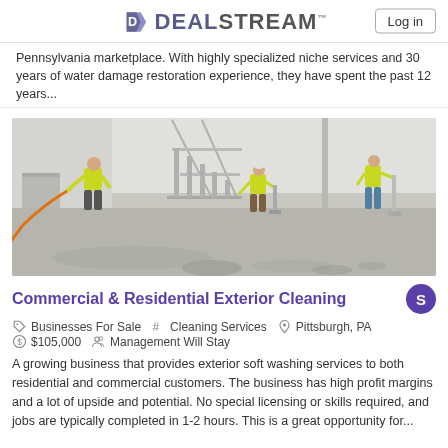DEALSTREAM™  Log in
Pennsylvania marketplace. With highly specialized niche services and 30 years of water damage restoration experience, they have spent the past 12 years...
[Figure (photo): Three workers in yellow safety vests cleaning/washing an industrial warehouse floor using hoses and equipment. White metal staircase visible in background.]
Commercial & Residential Exterior Cleaning
Businesses For Sale   #  Cleaning Services   Pittsburgh, PA   $105,000   Management Will Stay
A growing business that provides exterior soft washing services to both residential and commercial customers. The business has high profit margins and a lot of upside and potential. No special licensing or skills required, and jobs are typically completed in 1-2 hours. This is a great opportunity for...